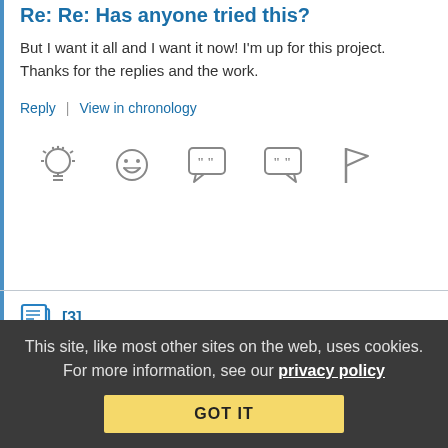Re: Re: Has anyone tried this?
But I want it all and I want it now! I'm up for this project. Thanks for the replies and the work.
Reply | View in chronology
[Figure (infographic): Row of 5 gray icons: lightbulb, laughing face, speech bubble with quote marks, speech bubble with quote marks, flag]
[3]
RonKaminsky (profile) INSIDER
This site, like most other sites on the web, uses cookies. For more information, see our privacy policy
GOT IT